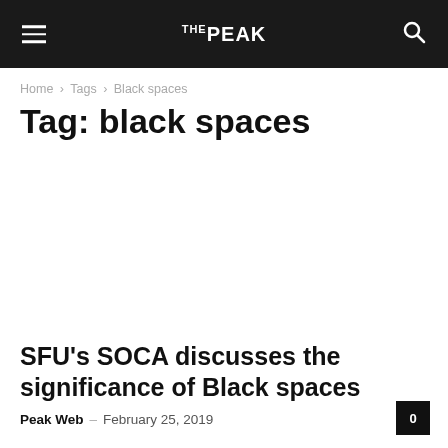THE PEAK
Home › Tags › Black spaces
Tag: black spaces
[Figure (photo): Empty image placeholder area for article thumbnail]
SFU's SOCA discusses the significance of Black spaces
Peak Web – February 25, 2019